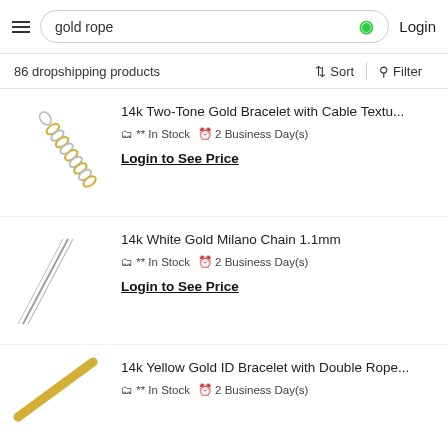gold rope | Login
86 dropshipping products
[Figure (photo): 14k Two-Tone Gold Bracelet with Cable Texture chain photo]
14k Two-Tone Gold Bracelet with Cable Textu...
** In Stock  2 Business Day(s)
Login to See Price
[Figure (photo): 14k White Gold Milano Chain 1.1mm product photo]
14k White Gold Milano Chain 1.1mm
** In Stock  2 Business Day(s)
Login to See Price
[Figure (photo): 14k Yellow Gold ID Bracelet with Double Rope product photo]
14k Yellow Gold ID Bracelet with Double Rope...
** In Stock  2 Business Day(s)